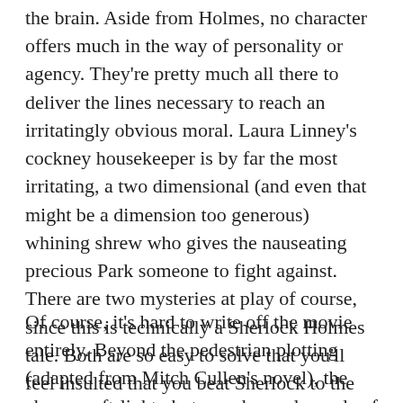the brain. Aside from Holmes, no character offers much in the way of personality or agency. They're pretty much all there to deliver the lines necessary to reach an irritatingly obvious moral. Laura Linney's cockney housekeeper is by far the most irritating, a two dimensional (and even that might be a dimension too generous) whining shrew who gives the nauseating precious Park someone to fight against. There are two mysteries at play of course, since this is technically a Sherlock Holmes tale. Both are so easy to solve that you'll feel insulted that you beat Sherlock to the punch.
Of course, it's hard to write off the movie entirely. Beyond the pedestrian plotting (adapted from Mitch Cullen's novel), the cheesy soft-light photography, and parade of